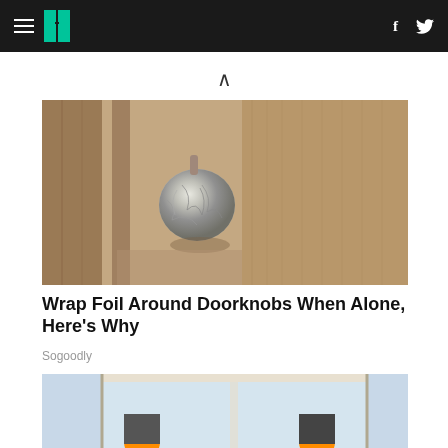HuffPost navigation bar with hamburger menu, logo, Facebook and Twitter icons
[Figure (photo): Photo of a doorknob wrapped in aluminum foil on a textured beige door]
Wrap Foil Around Doorknobs When Alone, Here's Why
Sogoodly
[Figure (photo): Photo of two workers in orange hard hats working on glass windows/doors]